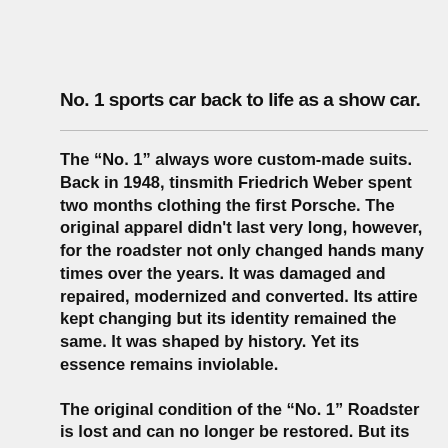No. 1 sports car back to life as a show car.
The “No. 1” always wore custom-made suits. Back in 1948, tinsmith Friedrich Weber spent two months clothing the first Porsche. The original apparel didn't last very long, however, for the roadster not only changed hands many times over the years. It was damaged and repaired, modernized and converted. Its attire kept changing but its identity remained the same. It was shaped by history. Yet its essence remains inviolable.
The original condition of the “No. 1” Roadster is lost and can no longer be restored. But its custom-made suit has been reconceived in something very close to the original form and reproduced using the same materials and techniques. This painstaking, manual labor of love,